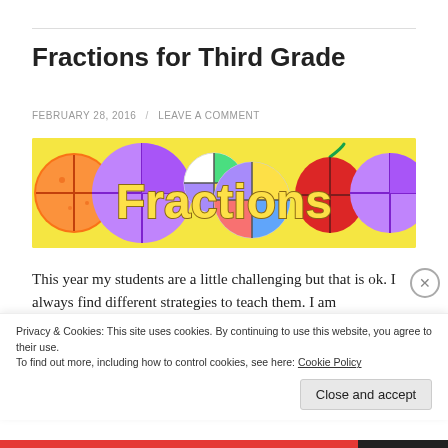Fractions for Third Grade
FEBRUARY 28, 2016 / LEAVE A COMMENT
[Figure (illustration): Colorful banner image with the word 'Fractions' in bold yellow letters on a yellow background, decorated with illustrations of various circular fraction diagrams using fruits and geometric shapes.]
This year my students are a little challenging but that is ok. I always find different strategies to teach them. I am
Privacy & Cookies: This site uses cookies. By continuing to use this website, you agree to their use.
To find out more, including how to control cookies, see here: Cookie Policy
Close and accept